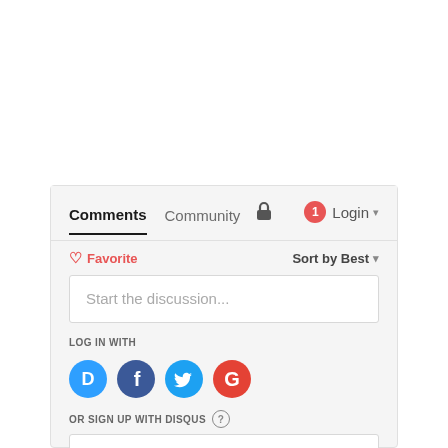[Figure (screenshot): Disqus comment widget interface showing tabs for Comments and Community, a lock icon, notification badge with 1, Login button, Favorite button, Sort by Best dropdown, Start the discussion input box, LOG IN WITH label, four social login icons (Disqus, Facebook, Twitter, Google), OR SIGN UP WITH DISQUS label with help icon, and a name/email input bar at the bottom.]